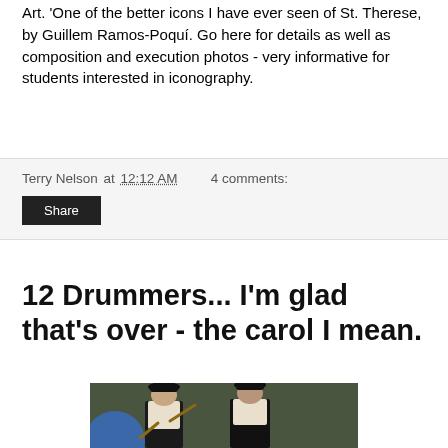Art. 'One of the better icons I have ever seen of St. Therese, by Guillem Ramos-Poquí. Go here for details as well as composition and execution photos - very informative for students interested in iconography.
Terry Nelson at 12:12 AM   4 comments:
Share
12 Drummers... I'm glad that's over - the carol I mean.
[Figure (photo): Two men dressed in medieval/renaissance drummer costumes with black hats and black vests over white shirts, one holding drumsticks. A blue circular shield is partially visible on the left side. Background appears to be a dark green curtain or backdrop.]